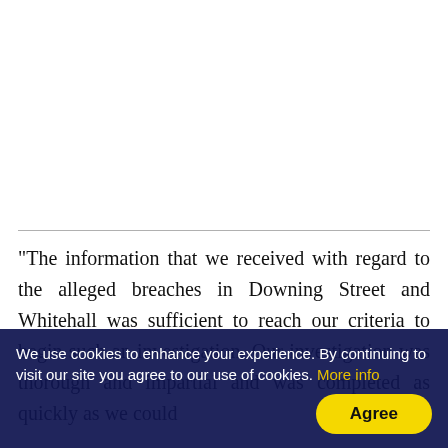"The information that we received with regard to the alleged breaches in Downing Street and Whitehall was sufficient to reach our criteria to begin such an investigation. Our investigation was thorough and impartial and was completed as quickly as we could
We use cookies to enhance your experience. By continuing to visit our site you agree to our use of cookies. More info